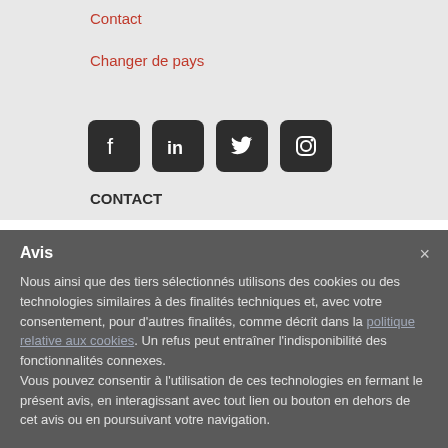Contact
Changer de pays
[Figure (other): Four social media icons: Facebook, LinkedIn, Twitter, Instagram — dark rounded square buttons]
CONTACT
Meditek - CS Official Partner
Avis
Nous ainsi que des tiers sélectionnés utilisons des cookies ou des technologies similaires à des finalités techniques et, avec votre consentement, pour d'autres finalités, comme décrit dans la politique relative aux cookies. Un refus peut entraîner l'indisponibilité des fonctionnalités connexes.
Vous pouvez consentir à l'utilisation de ces technologies en fermant le présent avis, en interagissant avec tout lien ou bouton en dehors de cet avis ou en poursuivant votre navigation.